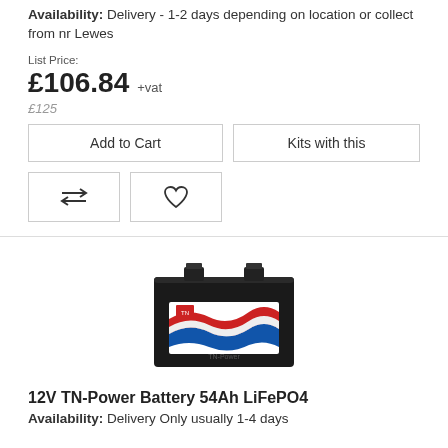Availability: Delivery - 1-2 days depending on location or collect from nr Lewes
List Price:
£106.84 +vat
£125
Add to Cart
Kits with this
[Figure (illustration): Compare icon (two horizontal arrows pointing in opposite directions)]
[Figure (illustration): Wishlist/heart icon]
[Figure (photo): Black rectangular battery with TN-Power branding label featuring red, white and blue wave design]
12V TN-Power Battery 54Ah LiFePO4
Availability: Delivery Only usually 1-4 days